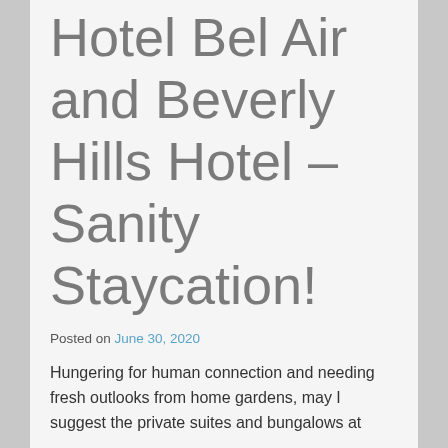Hotel Bel Air and Beverly Hills Hotel – Sanity Staycation!
Posted on June 30, 2020
Hungering for human connection and needing fresh outlooks from home gardens, may I suggest the private suites and bungalows at